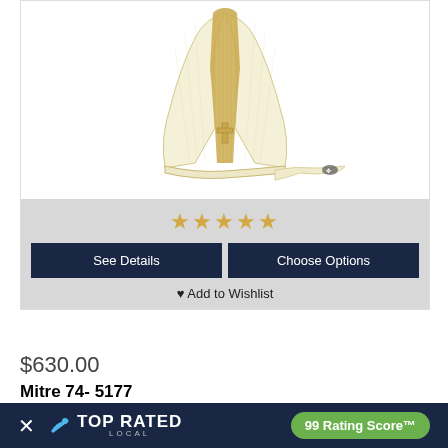[Figure (photo): A bishop's mitre hat (white/cream with gold vertical stripe and cross, with ribbon lappets) displayed on white background]
★★★★★
See Details
Choose Options
♥ Add to Wishlist
$630.00
Mitre 74- 5177
[Figure (photo): Purple vestment/chasuble with gold center stripe on black background (partially visible)]
× TOP RATED LOCAL   99 Rating Score™